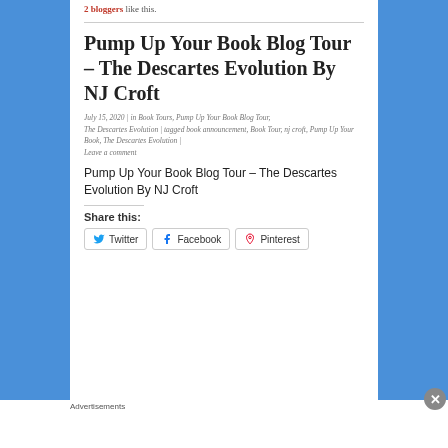2 bloggers like this.
Pump Up Your Book Blog Tour – The Descartes Evolution By NJ Croft
July 15, 2020 | in Book Tours, Pump Up Your Book Blog Tour, The Descartes Evolution | tagged book announcement, Book Tour, nj croft, Pump Up Your Book, The Descartes Evolution | Leave a comment
Pump Up Your Book Blog Tour – The Descartes Evolution By NJ Croft
Share this:
Advertisements
[Figure (photo): Macy's advertisement banner: KISS BORING LIPS GOODBYE with SHOP NOW button and Macy's star logo]